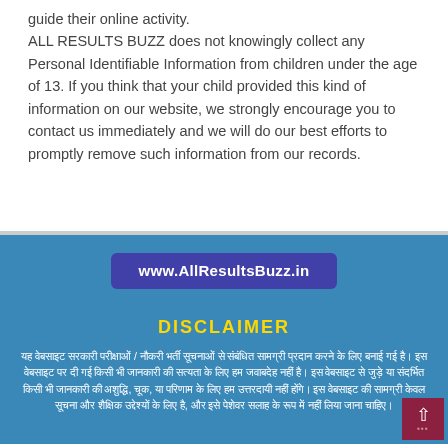guide their online activity. ALL RESULTS BUZZ does not knowingly collect any Personal Identifiable Information from children under the age of 13. If you think that your child provided this kind of information on our website, we strongly encourage you to contact us immediately and we will do our best efforts to promptly remove such information from our records.
www.AllResultsBuzz.in
DISCLAIMER
यह वेबसाइट सरकारी परीक्षाओं / नौकरी भर्ती सूचनाओं से संबंधित सामग्री प्रदान करने के लिए बनाई गई है। इस वेबसाइट पर दी गई किसी भी जानकारी की सत्यता के लिए हम जवाबदेह नहीं है। इस वेबसाइट से जुड़े या संदर्भित किसी भी जानकारी की अशुद्धि, चूक, या परिणाम के लिए हम उत्तरदायी नहीं होंगे। इस वेबसाइट की सामग्री केवल सूचना और शैक्षिक उद्देश्यों के लिए है, और इसे पेशेवर सलाह के रूप में नहीं लिया जाना चाहिए।